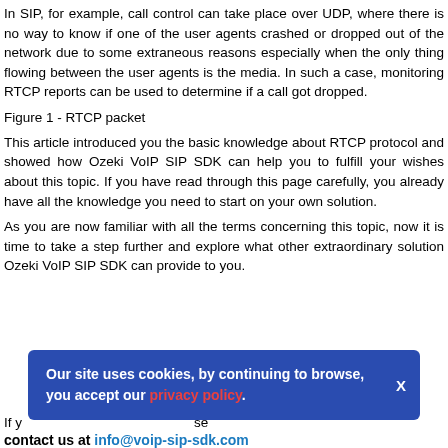In SIP, for example, call control can take place over UDP, where there is no way to know if one of the user agents crashed or dropped out of the network due to some extraneous reasons especially when the only thing flowing between the user agents is the media. In such a case, monitoring RTCP reports can be used to determine if a call got dropped.
Figure 1 - RTCP packet
This article introduced you the basic knowledge about RTCP protocol and showed how Ozeki VoIP SIP SDK can help you to fulfill your wishes about this topic. If you have read through this page carefully, you already have all the knowledge you need to start on your own solution.
As you are now familiar with all the terms concerning this topic, now it is time to take a step further and explore what other extraordinary solution Ozeki VoIP SIP SDK can provide to you.
Our site uses cookies, by continuing to browse, you accept our privacy policy.
If you need further help, please contact us at info@voip-sip-sdk.com